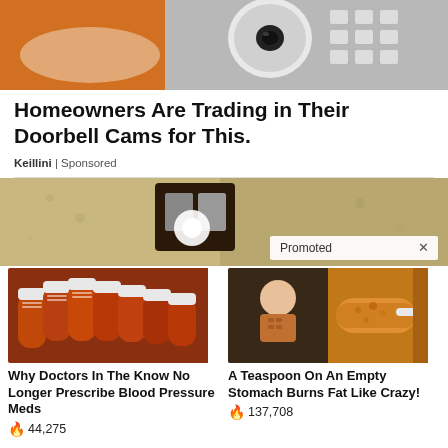[Figure (photo): Hand holding a white circular security camera device, orange tool visible on left, metal components visible on right]
Homeowners Are Trading in Their Doorbell Cams for This.
Keillini | Sponsored
[Figure (photo): Outdoor wall-mounted black lantern light fixture with white bulb glowing, textured stucco wall background. 'Promoted X' badge visible.]
[Figure (photo): Multiple brown prescription medicine bottles arranged in a fan pattern on a surface]
Why Doctors In The Know No Longer Prescribe Blood Pressure Meds
🔥 44,275
[Figure (photo): Fitness woman with toned abs on left, spoonful of orange spice powder on right]
A Teaspoon On An Empty Stomach Burns Fat Like Crazy!
🔥 137,708